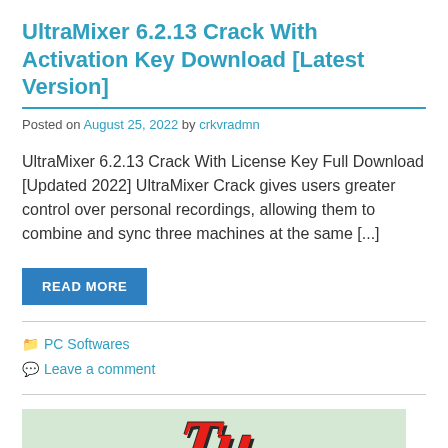UltraMixer 6.2.13 Crack With Activation Key Download [Latest Version]
Posted on August 25, 2022 by crkvradmn
UltraMixer 6.2.13 Crack With License Key Full Download [Updated 2022] UltraMixer Crack gives users greater control over personal recordings, allowing them to combine and sync three machines at the same [...]
READ MORE
PC Softwares
Leave a comment
[Figure (illustration): Partial view of a software logo on a light green background showing large bold italic red-and-black text, partially cropped at the bottom of the page.]